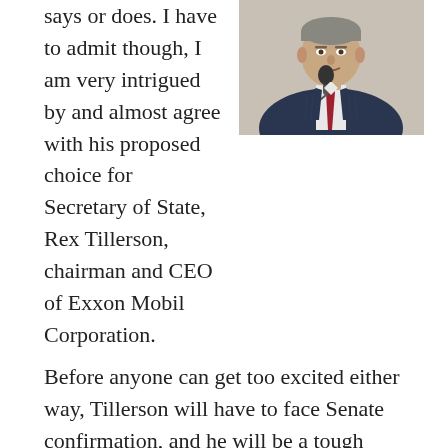says or does. I have to admit though, I am very intrigued by and almost agree with his proposed choice for Secretary of State, Rex Tillerson, chairman and CEO of Exxon Mobil Corporation.
[Figure (photo): Photo of a man in a dark pinstripe suit with a red tie speaking at a microphone]
Before anyone can get too excited either way, Tillerson will have to face Senate confirmation, and he will be a tough sell. Already, Democrat as well as Republican Senators are expressing their strong disapproval of the multi-millionaire and “friend” of Vladimir Putin. For many of them, his association with Putin is the first strike against him, followed by his lack of formal foreign policy experience. Of course, Donald Trump is